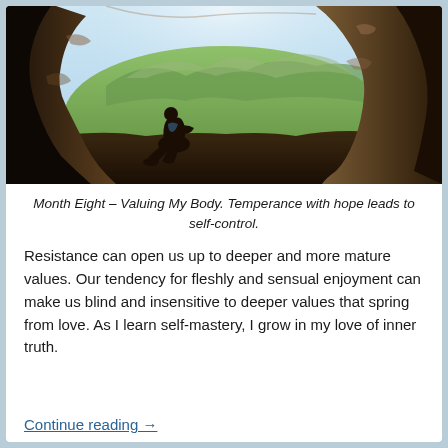[Figure (photo): A person sitting in silhouette inside a cave opening, looking out over a lush green mountain valley with bright sky and dramatic rock formations on either side.]
Month Eight – Valuing My Body. Temperance with hope leads to self-control.
Resistance can open us up to deeper and more mature values. Our tendency for fleshly and sensual enjoyment can make us blind and insensitive to deeper values that spring from love. As I learn self-mastery, I grow in my love of inner truth.
Continue reading →